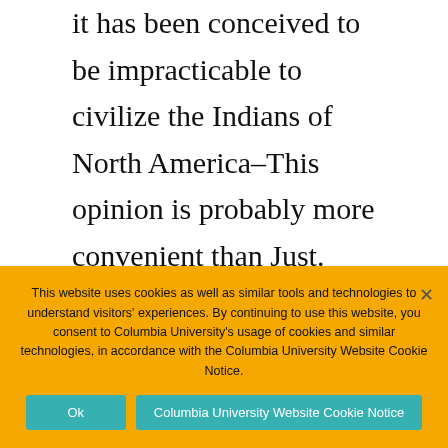it has been conceived to be impracticable to civilize the Indians of North America–This opinion is probably more convenient than Just. That the civilization of the Indians would be an operation of complicated difficulty. That it would be...
This website uses cookies as well as similar tools and technologies to understand visitors' experiences. By continuing to use this website, you consent to Columbia University's usage of cookies and similar technologies, in accordance with the Columbia University Website Cookie Notice.